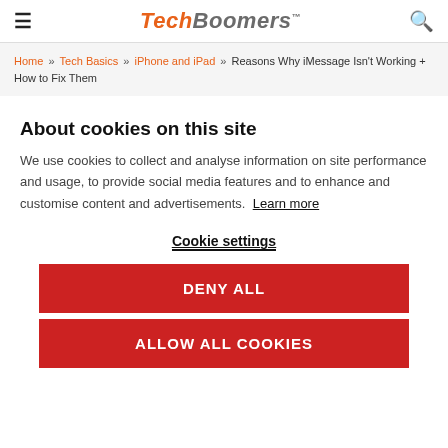TechBoomers
Home » Tech Basics » iPhone and iPad » Reasons Why iMessage Isn't Working + How to Fix Them
About cookies on this site
We use cookies to collect and analyse information on site performance and usage, to provide social media features and to enhance and customise content and advertisements. Learn more
Cookie settings
DENY ALL
ALLOW ALL COOKIES